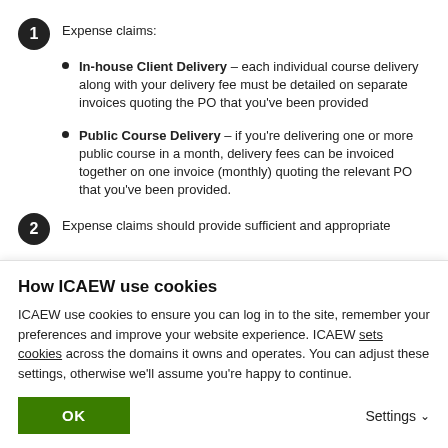Expense claims:
In-house Client Delivery – each individual course delivery along with your delivery fee must be detailed on separate invoices quoting the PO that you've been provided
Public Course Delivery – if you're delivering one or more public course in a month, delivery fees can be invoiced together on one invoice (monthly) quoting the relevant PO that you've been provided.
Expense claims should provide sufficient and appropriate
How ICAEW use cookies
ICAEW use cookies to ensure you can log in to the site, remember your preferences and improve your website experience. ICAEW sets cookies across the domains it owns and operates. You can adjust these settings, otherwise we'll assume you're happy to continue.
OK
Settings